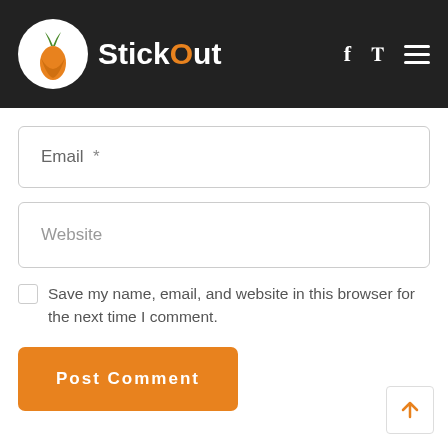StickOut
Email *
Website
Save my name, email, and website in this browser for the next time I comment.
Post Comment